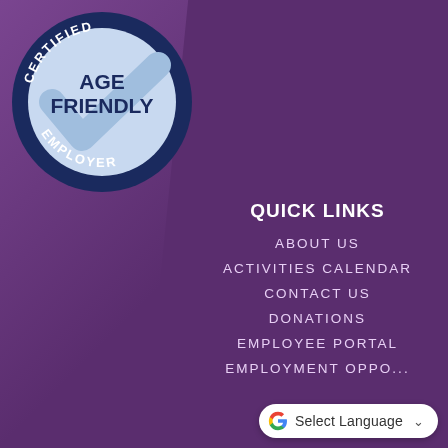[Figure (logo): Certified Age Friendly Employer circular badge/seal with dark navy border, light blue background, checkmark, and text 'CERTIFIED AGE FRIENDLY EMPLOYER']
QUICK LINKS
ABOUT US
ACTIVITIES CALENDAR
CONTACT US
DONATIONS
EMPLOYEE PORTAL
EMPLOYMENT OPPO...
[Figure (other): Google Translate widget showing 'Select Language' with Google G logo and dropdown arrow]